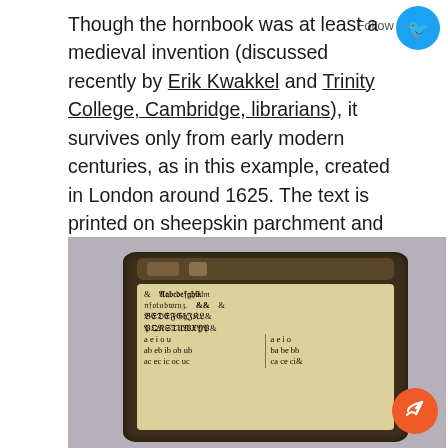Though the hornbook was at least a medieval invention (discussed recently by Erik Kwakkel and Trinity College, Cambridge, librarians), it survives only from early modern centuries, as in this example, created in London around 1625. The text is printed on sheepskin parchment and fixed to an oak paddle with a brass frame and iron nails; the handle is used for holding the hornbook. The parchment is laminated over with a processed animal horn (hence the name) to protect the text.
[Figure (photo): A photograph of a 1625 London hornbook — an oak paddle with a brass frame holding sheepskin parchment printed with Gothic-script alphabet rows (lowercase and uppercase) and vowel combination syllables (ae, ei, ou, ab eb ib ob ub, ac ec ic oc uc etc.), laminated under processed animal horn.]